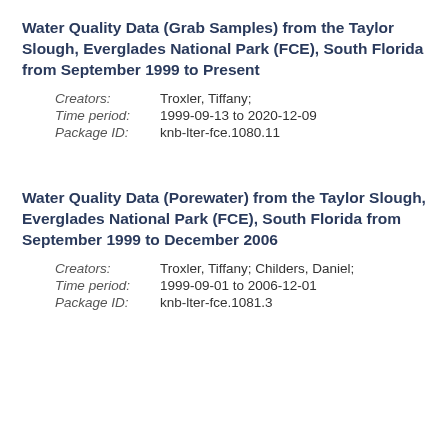Water Quality Data (Grab Samples) from the Taylor Slough, Everglades National Park (FCE), South Florida from September 1999 to Present
Creators: Troxler, Tiffany;
Time period: 1999-09-13 to 2020-12-09
Package ID: knb-lter-fce.1080.11
Water Quality Data (Porewater) from the Taylor Slough, Everglades National Park (FCE), South Florida from September 1999 to December 2006
Creators: Troxler, Tiffany; Childers, Daniel;
Time period: 1999-09-01 to 2006-12-01
Package ID: knb-lter-fce.1081.3